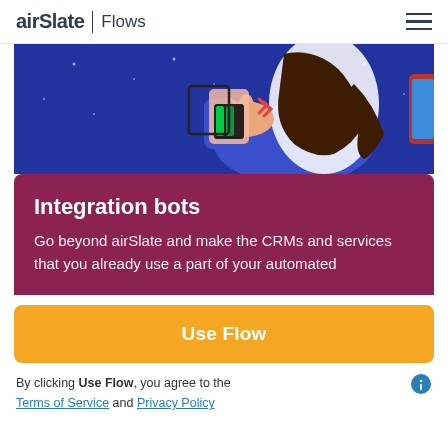airSlate | Flows
[Figure (illustration): Illustrated scene on dark blue background showing a stylized person with long dark hair making an OK gesture, holding colorful objects, with abstract decorative elements.]
Integration bots
Go beyond airSlate and make the CRMs and services that you already use a part of your automated
Use Flow
By clicking Use Flow, you agree to the Terms of Service and Privacy Policy